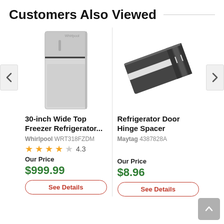Customers Also Viewed
[Figure (photo): Whirlpool top-freezer refrigerator, stainless steel finish]
[Figure (photo): Maytag Refrigerator Door Hinge Spacer, dark grey/black rectangular pad]
30-inch Wide Top Freezer Refrigerator...
Whirlpool WRT318FZDM
4.3
Our Price
$999.99
Refrigerator Door Hinge Spacer
Maytag 4387828A
Our Price
$8.96
See Details
See Details